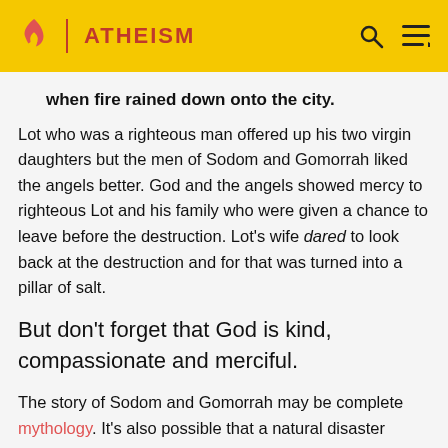ATHEISM
when fire rained down onto the city.
Lot who was a righteous man offered up his two virgin daughters but the men of Sodom and Gomorrah liked the angels better. God and the angels showed mercy to righteous Lot and his family who were given a chance to leave before the destruction. Lot's wife dared to look back at the destruction and for that was turned into a pillar of salt.
But don't forget that God is kind, compassionate and merciful.
The story of Sodom and Gomorrah may be complete mythology. It's also possible that a natural disaster